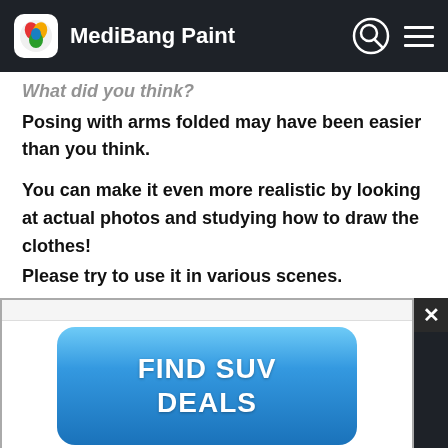MediBang Paint
What did you think?
Posing with arms folded may have been easier than you think.
You can make it even more realistic by looking at actual photos and studying how to draw the clothes!
Please try to use it in various scenes.
[Figure (screenshot): Advertisement popup overlay with a blue button reading 'FIND SUV DEALS' over a dark background with a close (X) button in the top right corner.]